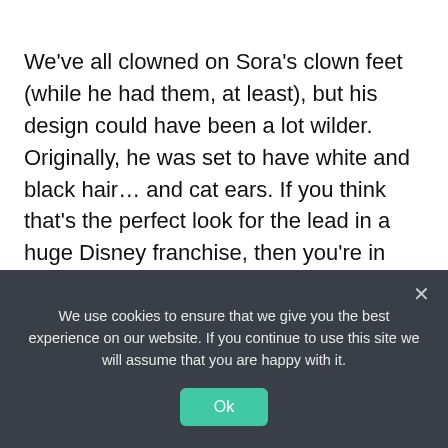We've all clowned on Sora's clown feet (while he had them, at least), but his design could have been a lot wilder. Originally, he was set to have white and black hair... and cat ears. If you think that's the perfect look for the lead in a huge Disney franchise, then you're in luck, because someone's only gone and modded it into the game. Modder Napstio has added prototype Sora to Kingdom Hearts Final Mix for our viewing pleasure, giving us a look at what could have been. And so we can be thankful that this never made it to the final game.
We use cookies to ensure that we give you the best experience on our website. If you continue to use this site we will assume that you are happy with it.